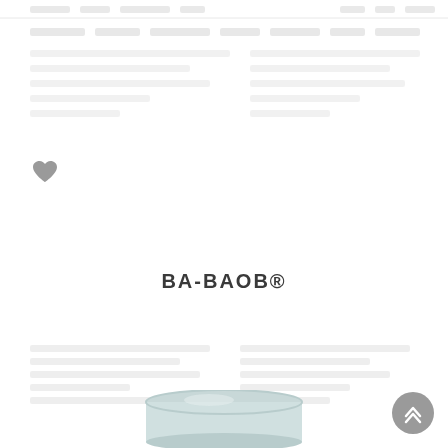[Figure (screenshot): Top navigation bar area of an e-commerce website, showing blurred/faded navigation links and menu items]
[Figure (illustration): Gray heart/favorite icon]
BA-BAOB®
[Figure (screenshot): Blurred product listing rows in a grid layout]
[Figure (photo): Light blue/mint colored cylindrical cosmetic container product shot, partially visible at the bottom of the page]
[Figure (illustration): Gray circular scroll-to-top button with double chevron up arrow icon in the bottom right corner]